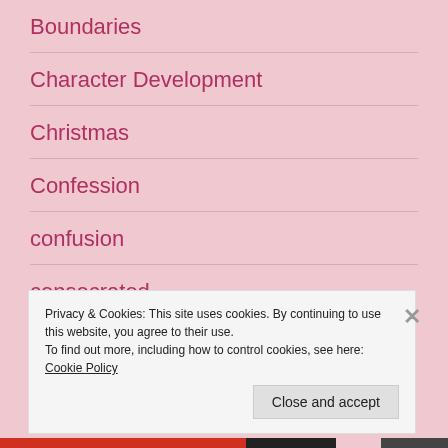Boundaries
Character Development
Christmas
Confession
confusion
consecrated
Privacy & Cookies: This site uses cookies. By continuing to use this website, you agree to their use.
To find out more, including how to control cookies, see here: Cookie Policy
Close and accept